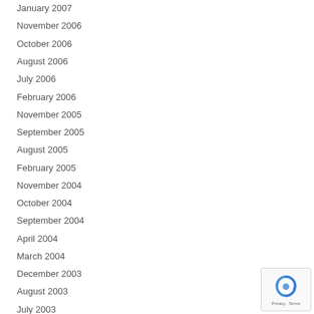January 2007
November 2006
October 2006
August 2006
July 2006
February 2006
November 2005
September 2005
August 2005
February 2005
November 2004
October 2004
September 2004
April 2004
March 2004
December 2003
August 2003
July 2003
June 2003